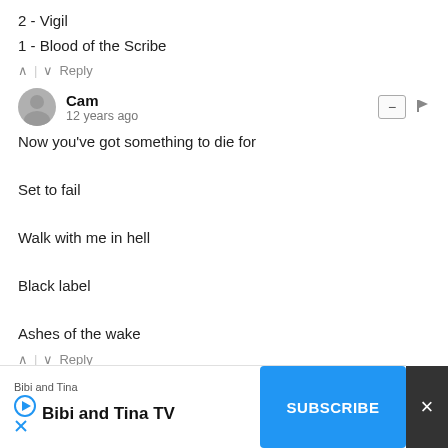2 - Vigil
1 - Blood of the Scribe
^ | v  Reply
Cam
12 years ago
Now you've got something to die for

Set to fail

Walk with me in hell

Black label

Ashes of the wake
^ | v  Reply
Ethan
12 years ago
Redneck
Laid to
Contrad
Walk w
[Figure (screenshot): Ad overlay for Bibi and Tina TV with Subscribe button]